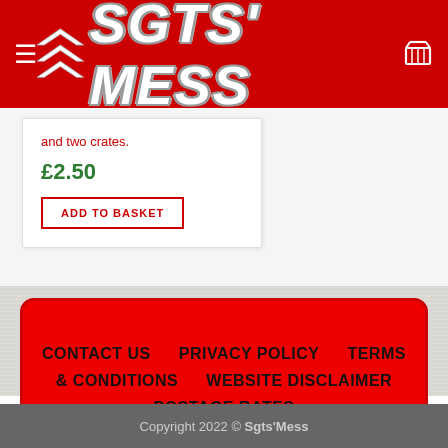SGTS' MESS
and two crates.
£2.50
ADD TO BASKET
CONTACT US   PRIVACY POLICY   TERMS & CONDITIONS   WEBSITE DISCLAIMER   POSTAGE RATES
Copyright 2022 © Sgts'Mess